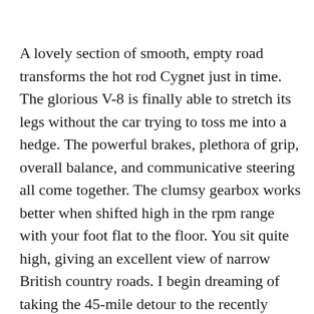A lovely section of smooth, empty road transforms the hot rod Cygnet just in time. The glorious V-8 is finally able to stretch its legs without the car trying to toss me into a hedge. The powerful brakes, plethora of grip, overall balance, and communicative steering all come together. The clumsy gearbox works better when shifted high in the rpm range with your foot flat to the floor. You sit quite high, giving an excellent view of narrow British country roads. I begin dreaming of taking the 45-mile detour to the recently reopened Mallory Park circuit just outside Leicester to give the V8 Cygnet a proper run on a racetrack. I'm also reminded that, no matter how impressive the Mercedes-AMG twin-turbo V-8 is in the new Vantage